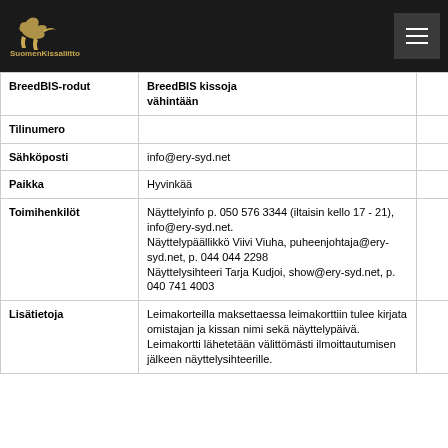SuomenKissaliitto
|  | BreedBIS kissoja vähintään |  |
| --- | --- | --- |
| BreedBIS-rodut | BreedBIS kissoja vähintään |  |
| Tilinumero |  |  |
| Sähköposti | info@ery-syd.net |  |
| Paikka | Hyvinkää |  |
| Toimihenkilöt | Näyttelyinfo p. 050 576 3344 (iltaisin kello 17 - 21), info@ery-syd.net. Näyttelypäällikkö Viivi Viuha, puheenjohtaja@ery-syd.net, p. 044 044 2298 Näyttelysihteeri Tarja Kudjoi, show@ery-syd.net, p. 040 741 4003 |  |
| Lisätietoja | Leimakorteilla maksettaessa leimakorttiin tulee kirjata omistajan ja kissan nimi sekä näyttelypäivä. Leimakortti lähetetään välittömästi ilmoittautumisen jälkeen näyttelysihteerille. |  |